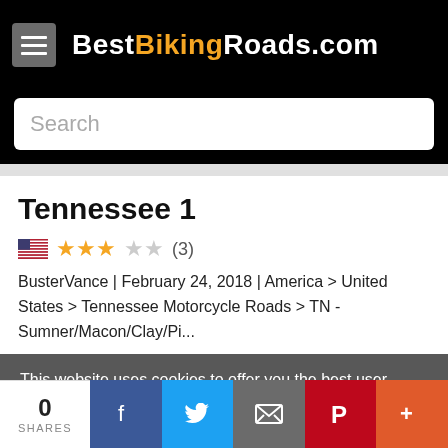BestBikingRoads.com
Search
Tennessee 1
★★★☆☆ (3)
BusterVance | February 24, 2018 | America > United States > Tennessee Motorcycle Roads > TN - Sumner/Macon/Clay/Pi...
This website uses cookies to offer you the best user experience and show relevant ads. To find out more, please read the Privacy Policy and Cookie Policy
0 SHARES